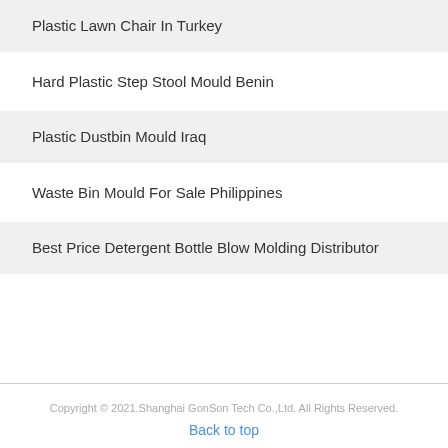Plastic Lawn Chair In Turkey
Hard Plastic Step Stool Mould Benin
Plastic Dustbin Mould Iraq
Waste Bin Mould For Sale Philippines
Best Price Detergent Bottle Blow Molding Distributor
Copyright © 2021.Shanghai GonSon Tech Co.,Ltd. All Rights Reserved.
Back to top